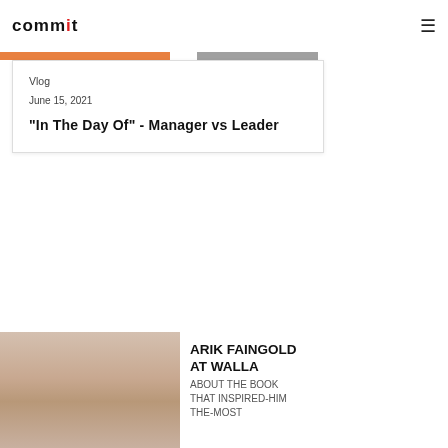COMMIT (logo) | hamburger menu
Vlog
June 15, 2021
"In The Day Of" - Manager vs Leader
[Figure (photo): Headshot of Arik Faingold, a middle-aged man with gray hair and glasses]
ARIK FAINGOLD AT WALLA ABOUT THE BOOK THAT INSPIRED-HIM THE-MOST